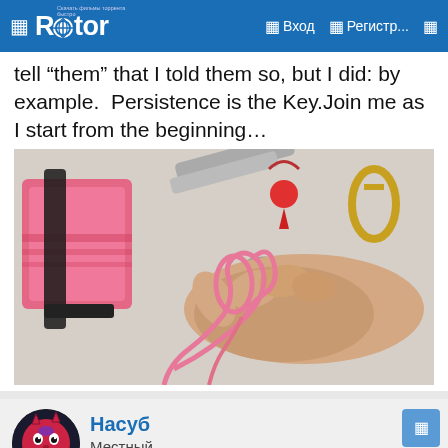Rutor — Вход — Регистр...
tell "them" that I told them so, but I did: by example.  Persistence is the Key.Join me as I start from the beginning…
[Figure (photo): A hand holding a pink paracord rope forming a knot/loop, with a spool of pink rope, scissors, a red ball tag on a lanyard, a carabiner, and a safety pin on a white table surface.]
Насуб
Местный
03/06/2022    #4